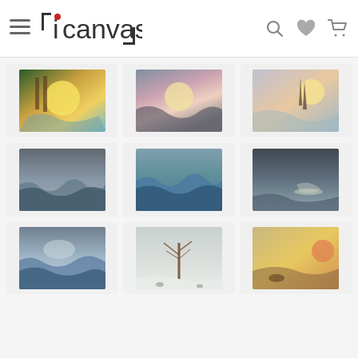icanvas
[Figure (screenshot): iCanvas website product grid showing 9 canvas art prints of seascape and landscape paintings arranged in a 3x3 grid. Top row: sunset with sailboat and trees, stormy sea at sunset, ships at sea with orange sunset. Middle row: boats in stormy waves, ocean waves seascape, dark stormy coast with figures. Bottom row: ship in storm waves, snowy winter scene with bare trees and figures, coastal scene with warm golden light.]